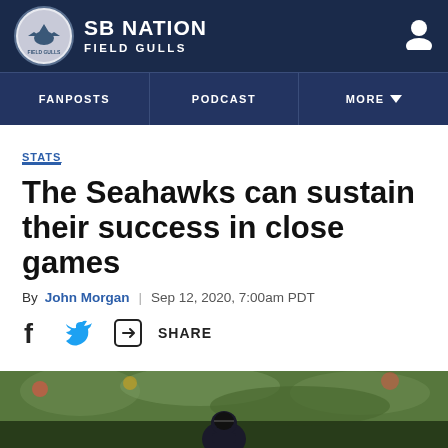SB NATION / FIELD GULLS
FANPOSTS | PODCAST | MORE
STATS
The Seahawks can sustain their success in close games
By John Morgan | Sep 12, 2020, 7:00am PDT
SHARE
[Figure (photo): Seahawks football players on field with green-clad crowd in background]